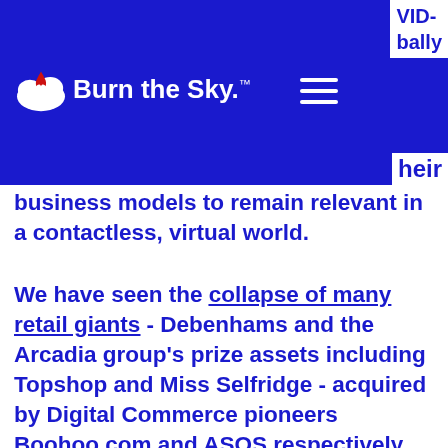Burn the Sky. [logo] [hamburger menu] VID- bally
their business models to remain relevant in a contactless, virtual world.
We have seen the collapse of many retail giants - Debenhams and the Arcadia group’s prize assets including Topshop and Miss Selfridge - acquired by Digital Commerce pioneers Boohoo.com and ASOS respectively.
What does this tell us? Workforces across all industries need fresh skill sets to deliver against new business goals, driven to dramatic and